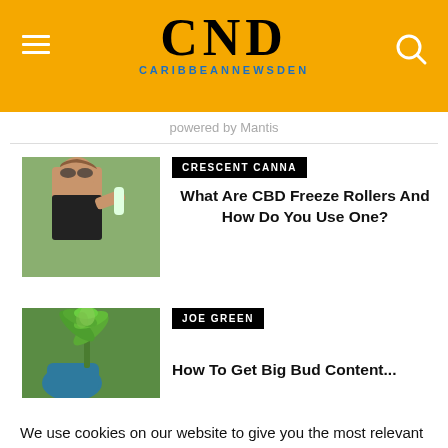CND CARIBBEANNEWSDEN
powered by Mantis
[Figure (photo): Woman applying a CBD freeze roller to her arm outdoors]
CRESCENT CANNA
What Are CBD Freeze Rollers And How Do You Use One?
[Figure (photo): Green cannabis plant being held outdoors]
JOE GREEN
We use cookies on our website to give you the most relevant experience by remembering your preferences and repeat visits. By clicking “Accept”, you consent to the use of ALL the cookies. Cookie Policy
Do not sell my personal information.